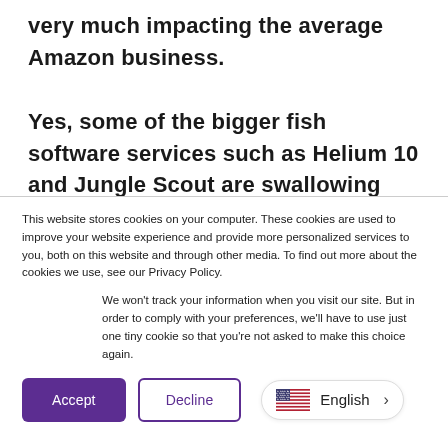very much impacting the average Amazon business.
Yes, some of the bigger fish software services such as Helium 10 and Jungle Scout are swallowing other software tools. Others like
This website stores cookies on your computer. These cookies are used to improve your website experience and provide more personalized services to you, both on this website and through other media. To find out more about the cookies we use, see our Privacy Policy.
We won't track your information when you visit our site. But in order to comply with your preferences, we'll have to use just one tiny cookie so that you're not asked to make this choice again.
Accept | Decline | English >